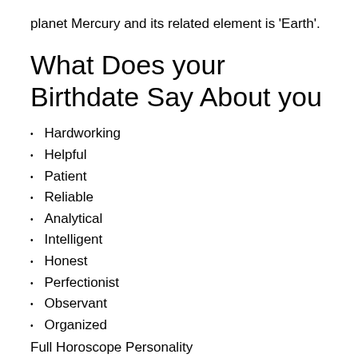planet Mercury and its related element is 'Earth'.
What Does your Birthdate Say About you
Hardworking
Helpful
Patient
Reliable
Analytical
Intelligent
Honest
Perfectionist
Observant
Organized
Full Horoscope Personality